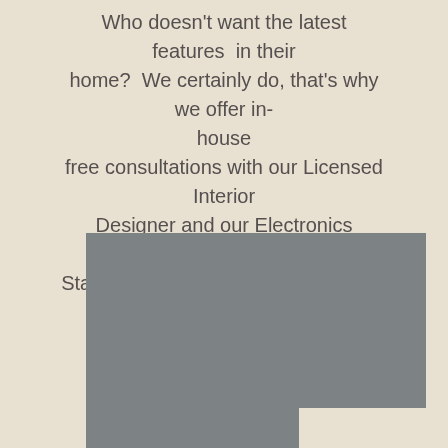Who doesn't want the latest features in their home? We certainly do, that's why we offer in-house free consultations with our Licensed Interior Designer and our Electronics Integrator. Start living in the home you dreamed of having... today.
[Figure (photo): A gray placeholder image block representing a photo, positioned at the bottom of the page]